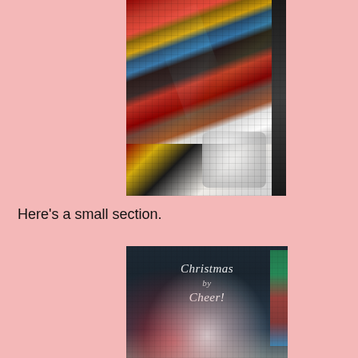[Figure (photo): Close-up photo of a diamond painting canvas showing colorful diamond/bead mosaic with letters on gems, red and black colors visible, with shiny plastic protective cover partially on, white pearl-like beads in bottom right corner. Black border visible on right edge.]
Here's a small section.
[Figure (photo): Photo of a diamond painting kit showing a dark teal/grey canvas with 'Christmas Cheer!' written in white cursive script, Santa Claus figure visible below with red hat and white beard. Floss/thread bags visible at top and right side of image.]